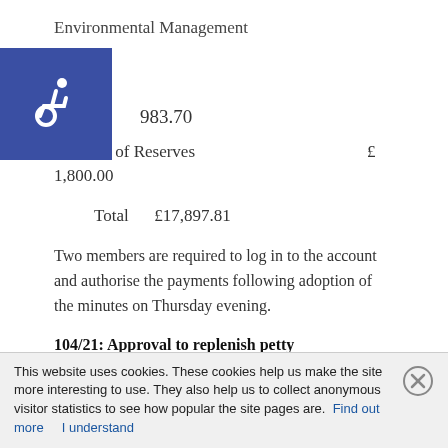Environmental Management
983.70
Transfer of Reserves   £
1,800.00
Total   £17,897.81
Two members are required to log in to the account and authorise the payments following adoption of the minutes on Thursday evening.
104/21: Approval to replenish petty
This website uses cookies. These cookies help us make the site more interesting to use. They also help us to collect anonymous visitor statistics to see how popular the site pages are.  Find out more    I understand